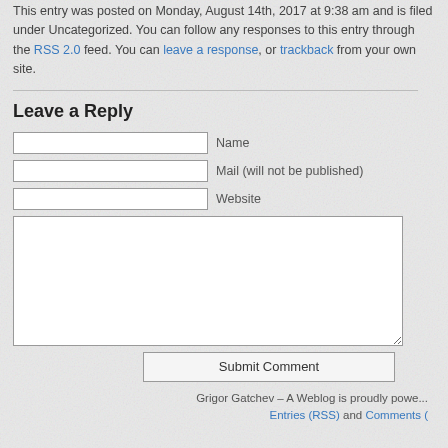This entry was posted on Monday, August 14th, 2017 at 9:38 am and is filed under Uncategorized. You can follow any responses to this entry through the RSS 2.0 feed. You can leave a response, or trackback from your own site.
Leave a Reply
Name [input field]
Mail (will not be published) [input field]
Website [input field]
[textarea for comment]
Submit Comment
Grigor Gatchev – A Weblog is proudly powered ... Entries (RSS) and Comments (